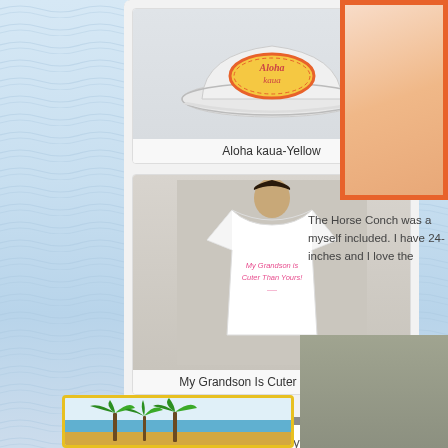[Figure (screenshot): Water/ocean background with light blue ripple texture]
[Figure (screenshot): Zazzle product widget panel showing two products: a white baseball cap with 'Aloha kaua' yellow oval design, and a white t-shirt with pink text 'My Grandson Is Cuter Than Yours!'. Widget has gray background with 'view more products by FloridaSiren' button and Zazzle logo.]
Aloha kaua-Yellow
My Grandson Is Cuter Than Yours!
view more products by FloridaSiren
[Figure (photo): Orange-bordered photo box in top right, partially visible, showing a skin-toned subject]
The Horse Conch was a myself included. I have 24-inches and I love the
[Figure (photo): Gray/olive colored image partially visible at bottom right]
[Figure (illustration): Yellow-bordered image at bottom left showing tropical palm trees scene]